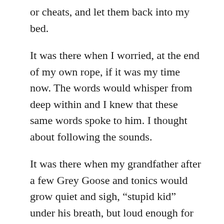or cheats, and let them back into my bed.
It was there when I worried, at the end of my own rope, if it was my time now. The words would whisper from deep within and I knew that these same words spoke to him. I thought about following the sounds.
It was there when my grandfather after a few Grey Goose and tonics would grow quiet and sigh, “stupid kid” under his breath, but loud enough for me feel each word.
It was there as I traveled from place to place seeking out information. I went looking for his